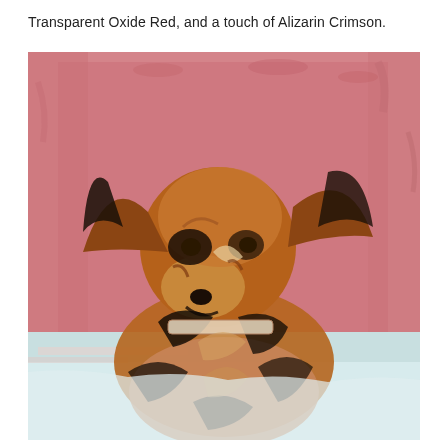Transparent Oxide Red, and a touch of Alizarin Crimson.
[Figure (illustration): An oil painting of a dog (appears to be a Doberman or similar breed) depicted from the chest up, facing slightly left. The dog has brown/tan fur with black markings, floppy ears, and wears a collar. The background is a textured pink/rose color in the upper portion, transitioning to a light blue-white at the bottom. The painting style is loose and expressive with visible brushstrokes.]